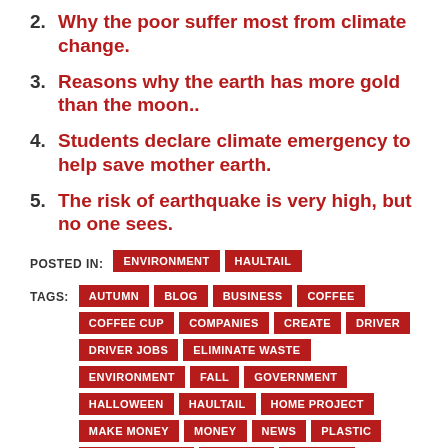2. Why the poor suffer most from climate change.
3. Reasons why the earth has more gold than the moon..
4. Students declare climate emergency to help save mother earth.
5. The risk of earthquake is very high, but no one sees.
POSTED IN: ENVIRONMENT  HAULTAIL
TAGS: AUTUMN  BLOG  BUSINESS  COFFEE  COFFEE CUP  COMPANIES  CREATE  DRIVER  DRIVER JOBS  ELIMINATE WASTE  ENVIRONMENT  FALL  GOVERNMENT  HALLOWEEN  HAULTAIL  HOME PROJECT  MAKE MONEY  MONEY  NEWS  PLASTIC  PLASTIC WASTE  PROJECT  RECYCLE  RECYCLING  REUSABLE  TRUCK  TRUCK JOBS